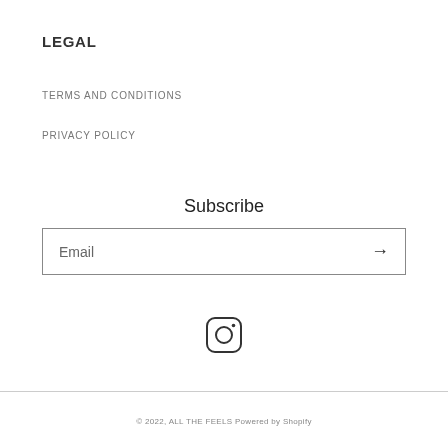LEGAL
TERMS AND CONDITIONS
PRIVACY POLICY
Subscribe
Email
[Figure (illustration): Instagram icon — rounded square with circle and small circle inside]
© 2022, ALL THE FEELS Powered by Shopify